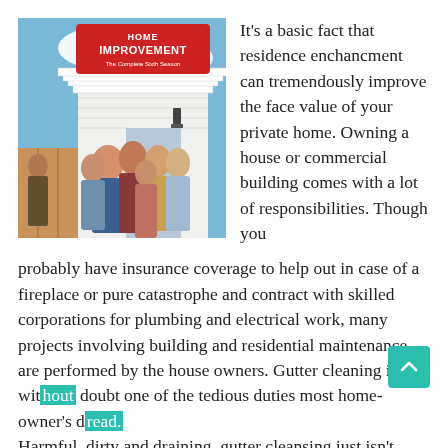[Figure (photo): DVD cover of 'Home Improvement – The Complete Sixth Season' showing cast members posing in front of a house set with the show logo at the top.]
It's a basic fact that residence enchancment can tremendously improve the face value of your private home. Owning a house or commercial building comes with a lot of responsibilities. Though you probably have insurance coverage to help out in case of a fireplace or pure catastrophe and contract with skilled corporations for plumbing and electrical work, many projects involving building and residential maintenance are performed by the house owners. Gutter cleaning is without doubt one of the tedious duties most home-owner's dread. Harmful, dirty and draining, gutter cleansing just isn't